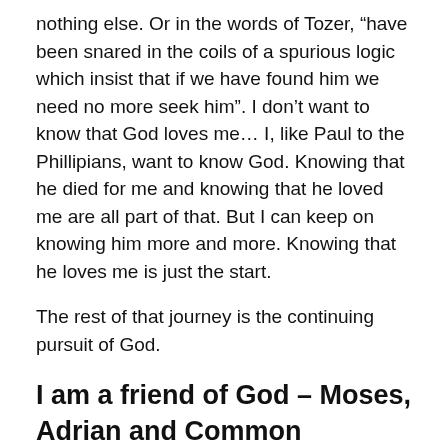nothing else. Or in the words of Tozer, “have been snared in the coils of a spurious logic which insist that if we have found him we need no more seek him”. I don’t want to know that God loves me… I, like Paul to the Phillipians, want to know God. Knowing that he died for me and knowing that he loved me are all part of that. But I can keep on knowing him more and more. Knowing that he loves me is just the start.
The rest of that journey is the continuing pursuit of God.
I am a friend of God – Moses, Adrian and Common Nonsense.
The Israelites had been marched out of Egypt after all the